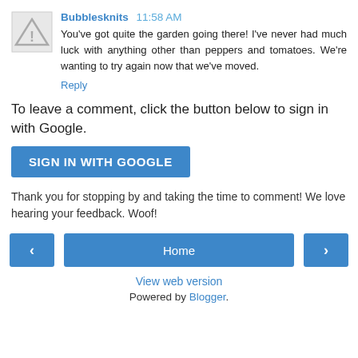Bubblesknits  11:58 AM
You've got quite the garden going there! I've never had much luck with anything other than peppers and tomatoes. We're wanting to try again now that we've moved.
Reply
To leave a comment, click the button below to sign in with Google.
SIGN IN WITH GOOGLE
Thank you for stopping by and taking the time to comment! We love hearing your feedback. Woof!
Home
View web version
Powered by Blogger.